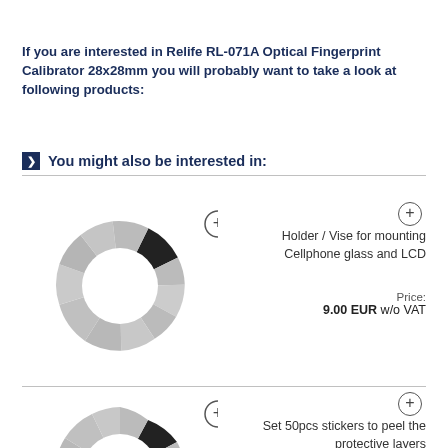If you are interested in Relife RL-071A Optical Fingerprint Calibrator 28x28mm you will probably want to take a look at following products:
You might also be interested in:
[Figure (other): Loading spinner / circular segmented icon with one dark segment, product thumbnail placeholder]
Holder / Vise for mounting Cellphone glass and LCD
Price:
9.00 EUR w/o VAT
[Figure (other): Loading spinner / circular segmented icon with one dark segment, product thumbnail placeholder (partial, bottom of page)]
Set 50pcs stickers to peel the protective layers